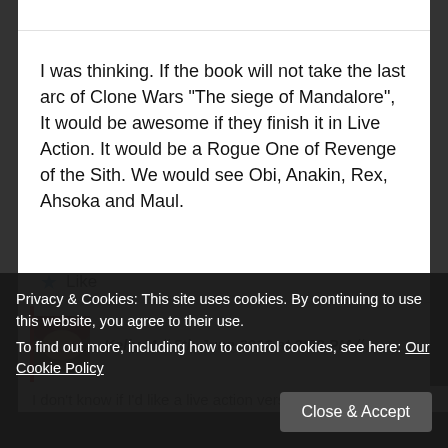[Figure (logo): Small red logo/icon in top left area of page]
I was thinking. If the book will not take the last arc of Clone Wars "The siege of Mandalore", It would be awesome if they finish it in Live Action. It would be a Rogue One of Revenge of the Sith. We would see Obi, Anakin, Rex, Ahsoka and Maul.
★ Like
Kelly M // 5th June 2016 at 9:58 PM //
I don't know if I'd like a live action version of that but I'd be...
Privacy & Cookies: This site uses cookies. By continuing to use this website, you agree to their use.
To find out more, including how to control cookies, see here: Our Cookie Policy
Close & Accept